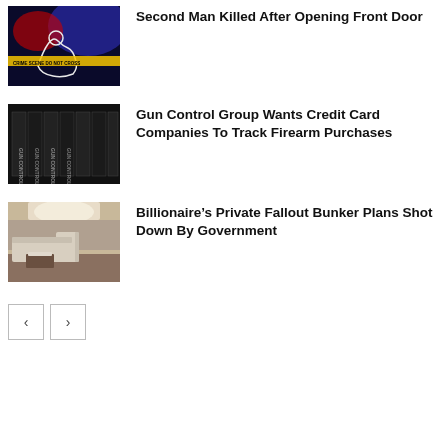[Figure (photo): Crime scene photo with chalk outline and yellow crime scene tape]
Second Man Killed After Opening Front Door
[Figure (photo): Dark image showing multiple copies of a 'Gun Control' book/magazine]
Gun Control Group Wants Credit Card Companies To Track Firearm Purchases
[Figure (photo): Interior of a luxury bunker with white L-shaped sofa and coffee table]
Billionaire’s Private Fallout Bunker Plans Shot Down By Government